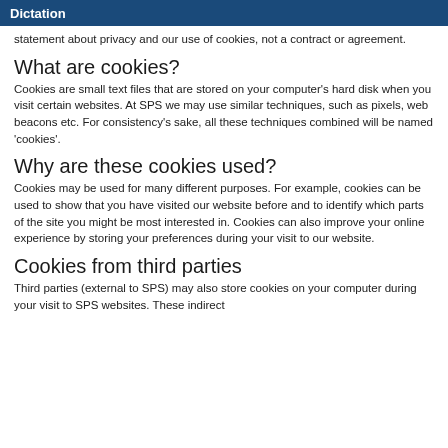Dictation
statement about privacy and our use of cookies, not a contract or agreement.
What are cookies?
Cookies are small text files that are stored on your computer's hard disk when you visit certain websites. At SPS we may use similar techniques, such as pixels, web beacons etc. For consistency's sake, all these techniques combined will be named 'cookies'.
Why are these cookies used?
Cookies may be used for many different purposes. For example, cookies can be used to show that you have visited our website before and to identify which parts of the site you might be most interested in. Cookies can also improve your online experience by storing your preferences during your visit to our website.
Cookies from third parties
Third parties (external to SPS) may also store cookies on your computer during your visit to SPS websites. These indirect